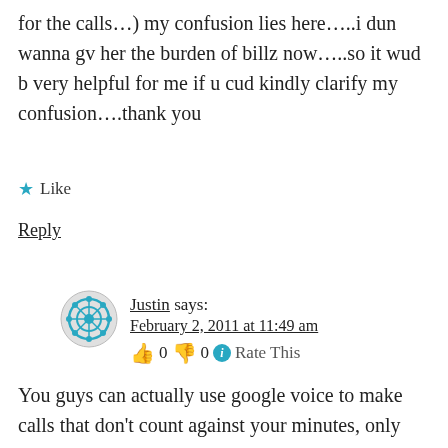for the calls…) my confusion lies here…..i dun wanna gv her the burden of billz now…..so it wud b very helpful for me if u cud kindly clarify my confusion….thank you
★ Like
Reply
Justin says: February 2, 2011 at 11:49 am 👍 0 👎 0 ℹ Rate This
You guys can actually use google voice to make calls that don't count against your minutes, only your data. Download a